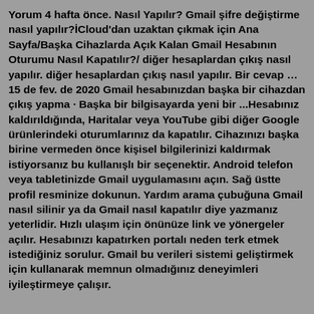Yorum 4 hafta önce. Nasıl Yapılır? Gmail şifre değiştirme nasıl yapılır?İCloud'dan uzaktan çıkmak için Ana Sayfa/Başka Cihazlarda Açık Kalan Gmail Hesabının Oturumu Nasıl Kapatılır?/ diğer hesaplardan çıkış nasıl yapılır. diğer hesaplardan çıkış nasıl yapılır. Bir cevap … 15 de fev. de 2020 Gmail hesabınızdan başka bir cihazdan çıkış yapma · Başka bir bilgisayarda yeni bir ...Hesabınız kaldırıldığında, Haritalar veya YouTube gibi diğer Google ürünlerindeki oturumlarınız da kapatılır. Cihazınızı başka birine vermeden önce kişisel bilgilerinizi kaldırmak istiyorsanız bu kullanışlı bir seçenektir. Android telefon veya tabletinizde Gmail uygulamasını açın. Sağ üstte profil resminize dokunun. Yardım arama çubuğuna Gmail nasıl silinir ya da Gmail nasıl kapatılır diye yazmanız yeterlidir. Hızlı ulaşım için önünüze link ve yönergeler açılır. Hesabınızı kapatırken portalı neden terk etmek istediğiniz sorulur. Gmail bu verileri sistemi geliştirmek için kullanarak memnun olmadığınız deneyimleri iyileştirmeye çalışır.